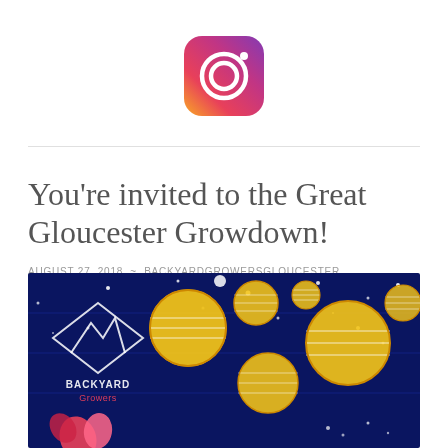[Figure (logo): Instagram app logo — rounded square with gradient background (purple to orange) and white camera outline icon]
You're invited to the Great Gloucester Growdown!
AUGUST 27, 2018  ~  BACKYARDGROWERSGLOUCESTER
[Figure (illustration): Colorful illustrated event flyer on dark navy blue background showing Backyard Growers logo (white diamond/mountain sketch with text) on left, and multiple golden yellow circular lantern/orb shapes floating across the image with white dots resembling stars. Pink and red floral elements visible in bottom left corner.]